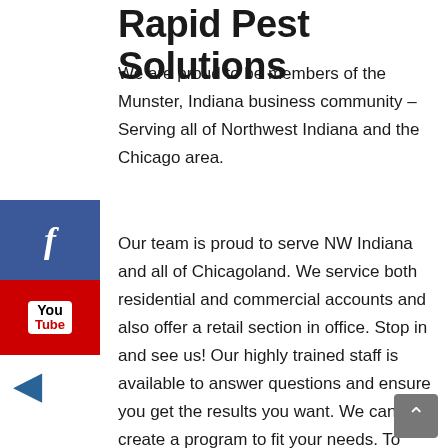Rapid Pest Solutions
We are proud to be members of the Munster, Indiana business community – Serving all of Northwest Indiana and the Chicago area.
Our team is proud to serve NW Indiana and all of Chicagoland. We service both residential and commercial accounts and also offer a retail section in office. Stop in and see us! Our highly trained staff is available to answer questions and ensure you get the results you want. We can create a program to fit your needs. To receive a free consultation